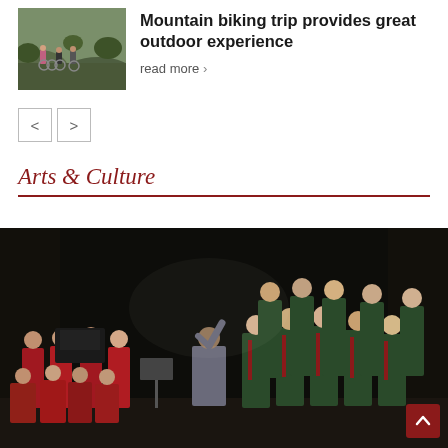[Figure (photo): Group of students with mountain bikes on a trail outdoors]
Mountain biking trip provides great outdoor experience
read more ›
[Figure (other): Navigation previous and next arrow buttons]
Arts & Culture
[Figure (photo): School choir and students in uniform performing on stage, being conducted by a conductor with their back to camera. Students in red dresses and green striped blazers with red ties.]